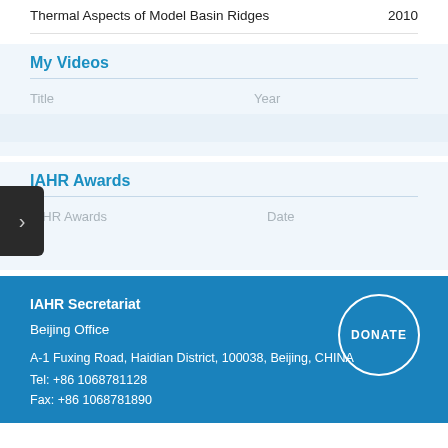| Title | Year |
| --- | --- |
| Thermal Aspects of Model Basin Ridges | 2010 |
My Videos
| Title | Year |
| --- | --- |
IAHR Awards
| IAHR Awards | Date |
| --- | --- |
IAHR Secretariat
Beijing Office
A-1 Fuxing Road, Haidian District, 100038, Beijing, CHINA
Tel: +86 1068781128
Fax: +86 1068781890